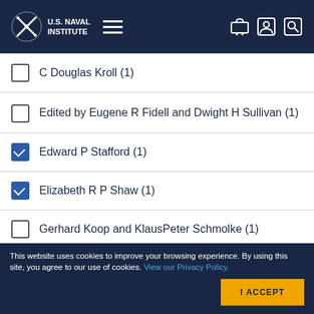U.S. Naval Institute
C Douglas Kroll (1)
Edited by Eugene R Fidell and Dwight H Sullivan (1)
Edward P Stafford (1) [checked]
Elizabeth R P Shaw (1) [checked]
Gerhard Koop and KlausPeter Schmolke (1)
James H Ellis (1)
This website uses cookies to improve your browsing experience. By using this site, you agree to our use of cookies. View our Privacy Policy. I ACCEPT